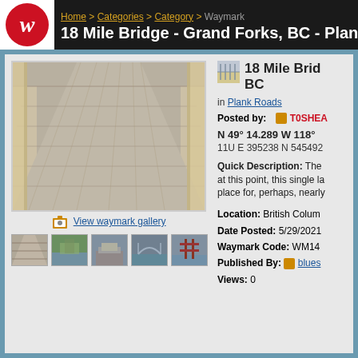Home > Categories > Category > Waymark
18 Mile Bridge - Grand Forks, BC - Plank Ro...
[Figure (photo): Close-up view of wooden plank bridge deck with railings visible on sides, perspective shot looking down bridge]
View waymark gallery
[Figure (photo): Thumbnail 1: Road/bridge deck]
[Figure (photo): Thumbnail 2: Bridge with water and trees]
[Figure (photo): Thumbnail 3: Stone/concrete structure]
[Figure (photo): Thumbnail 4: Bridge arch over water]
[Figure (photo): Thumbnail 5: Red metal bridge structure]
18 Mile Bridge - Grand Forks, BC
in Plank Roads
Posted by: T0SHEA
N 49° 14.289 W 118°
11U E 395238 N 5454920
Quick Description: The... at this point, this single la... place for, perhaps, nearly...
Location: British Colum...
Date Posted: 5/29/2021
Waymark Code: WM14...
Published By: blues...
Views: 0